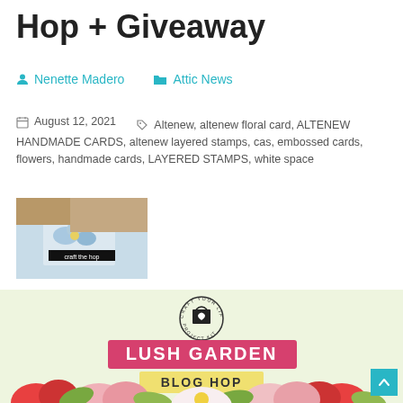Hop + Giveaway
Nenette Madero   Attic News
August 12, 2021   Altenew, altenew floral card, ALTENEW HANDMADE CARDS, altenew layered stamps, cas, embossed cards, flowers, handmade cards, LAYERED STAMPS, white space
[Figure (photo): Small thumbnail image of a handmade floral card with blue flowers]
[Figure (illustration): Lush Garden Blog Hop banner image with Craft Your Life Project Kit logo, pink rectangle with white text LUSH GARDEN, yellow rectangle with dark text BLOG HOP, and colorful flowers at the bottom]